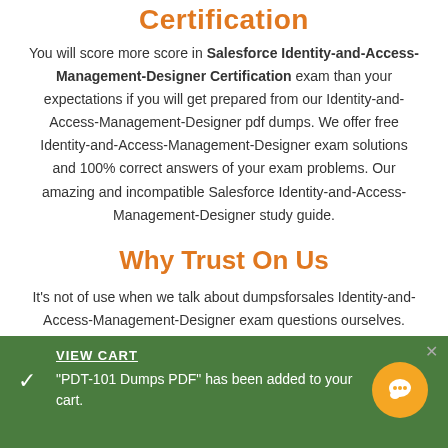Certification
You will score more score in Salesforce Identity-and-Access-Management-Designer Certification exam than your expectations if you will get prepared from our Identity-and-Access-Management-Designer pdf dumps. We offer free Identity-and-Access-Management-Designer exam solutions and 100% correct answers of your exam problems. Our amazing and incompatible Salesforce Identity-and-Access-Management-Designer study guide.
Why Trust On Us
It's not of use when we talk about dumpsforsales Identity-and-Access-Management-Designer exam questions ourselves. Your trust in us is our utmost duty. Your satisfaction is our satisfaction. Salesforce Identity-and-Access-Management-Designer exam
VIEW CART
"PDT-101 Dumps PDF" has been added to your cart.